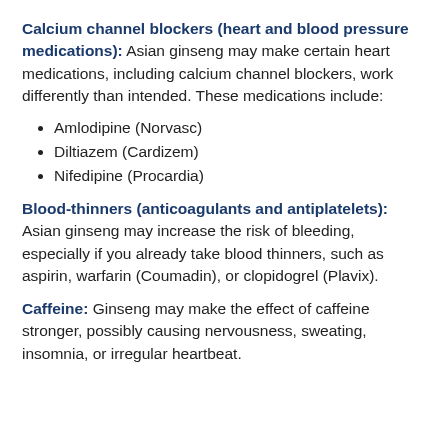Calcium channel blockers (heart and blood pressure medications): Asian ginseng may make certain heart medications, including calcium channel blockers, work differently than intended. These medications include:
Amlodipine (Norvasc)
Diltiazem (Cardizem)
Nifedipine (Procardia)
Blood-thinners (anticoagulants and antiplatelets): Asian ginseng may increase the risk of bleeding, especially if you already take blood thinners, such as aspirin, warfarin (Coumadin), or clopidogrel (Plavix).
Caffeine: Ginseng may make the effect of caffeine stronger, possibly causing nervousness, sweating, insomnia, or irregular heartbeat.